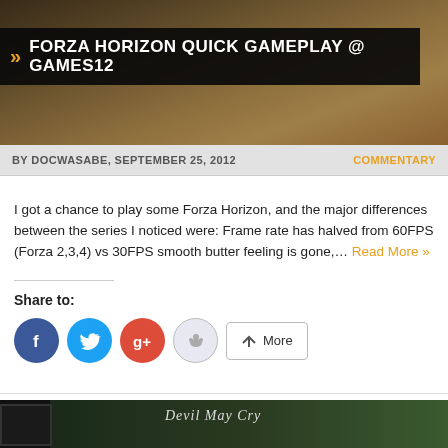[Figure (screenshot): Header image for Forza Horizon blog post with dark overlay and title bar showing chevrons and article title]
FORZA HORIZON QUICK GAMEPLAY @ GAMES12
BY DOCWASABE, SEPTEMBER 25, 2012 | COMMENTARY
I got a chance to play some Forza Horizon, and the major differences between the series I noticed were: Frame rate has halved from 60FPS (Forza 2,3,4) vs 30FPS smooth butter feeling is gone,… Read More »
Share to:
[Figure (screenshot): Devil May Cry game display on a monitor shown in the lower section of the blog page]